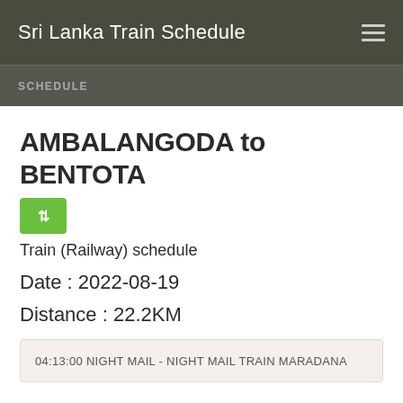Sri Lanka Train Schedule
SCHEDULE
AMBALANGODA to BENTOTA
Train (Railway) schedule
Date : 2022-08-19
Distance : 22.2KM
04:13:00 NIGHT MAIL - NIGHT MAIL TRAIN MARADANA